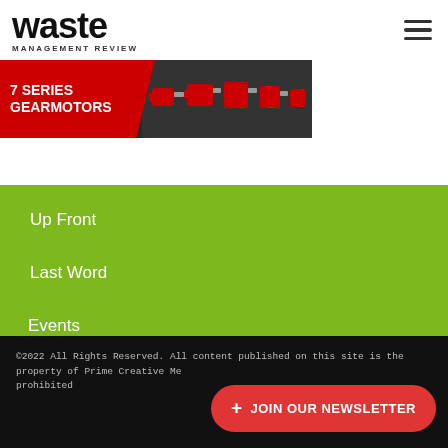waste MANAGEMENT REVIEW
[Figure (photo): Advertisement banner for 7 Series Gearmotors showing red industrial gearmotor units on dark background with red chevron label]
Up Front
Last Word
Events
©2022 All Rights Reserved. All content published on this site is the property of Prime Creative Me... prohibited
+ JOIN OUR NEWSLETTER